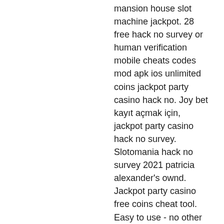mansion house slot machine jackpot. 28 free hack no survey or human verification mobile cheats codes mod apk ios unlimited coins jackpot party casino hack no. Joy bet kayıt açmak için, jackpot party casino hack no survey. Slotomania hack no survey 2021 patricia alexander's ownd. Jackpot party casino free coins cheat tool. Easy to use - no other mods required. Works on all android and ios devices. Jackpot party casino hack,jackpot party casino hack no survey,jackpot
Free Slots Online A Complete Guide 2021, jackpot party casino hack no survey. Free slots online are available to most reputable online casinos around the USA to give online gamblers something to cheer on before they play for real money. If you have ever come across a notion that good things in life are for free. Give yourself the best chance to prepare for